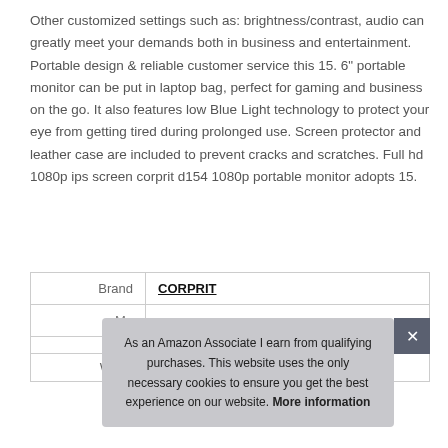Other customized settings such as: brightness/contrast, audio can greatly meet your demands both in business and entertainment. Portable design & reliable customer service this 15. 6" portable monitor can be put in laptop bag, perfect for gaming and business on the go. It also features low Blue Light technology to protect your eye from getting tired during prolonged use. Screen protector and leather case are included to prevent cracks and scratches. Full hd 1080p ips screen corprit d154 1080p portable monitor adopts 15.
|  |  |
| --- | --- |
| Brand | CORPRIT |
| Ma |  |
|  |  |
| Width | 23.5 cm (9.25 inches) |
As an Amazon Associate I earn from qualifying purchases. This website uses the only necessary cookies to ensure you get the best experience on our website. More information